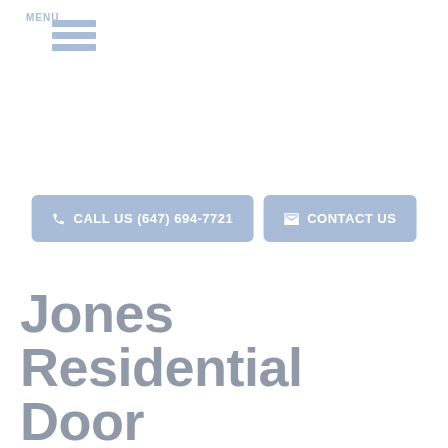[Figure (other): Hamburger menu icon with three horizontal blue bars and MENU label below]
[Figure (other): Two buttons side by side: 'CALL US (647) 694-7721' with phone icon, and 'CONTACT US' with envelope icon, both styled with light blue/periwinkle background]
Jones Residential Door